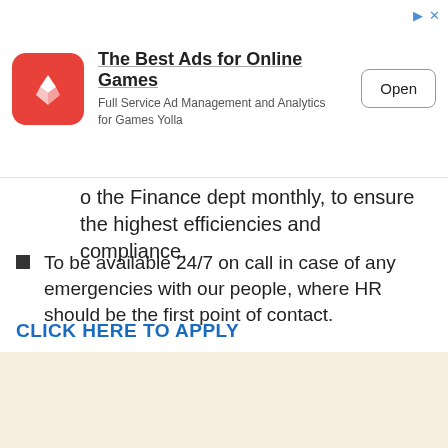[Figure (other): Advertisement banner: Yolla app icon (red rounded square with Y letter), title 'The Best Ads for Online Games', subtitle 'Full Service Ad Management and Analytics for Games Yolla', with Open button]
o the Finance dept monthly, to ensure the highest efficiencies and compliance.
To be available 24/7 on call in case of any emergencies with our people, where HR should be the first point of contact.
All other duties as outlined by the General Manager/ Directors | human resources and compliance manager job.
CLICK HERE TO APPLY